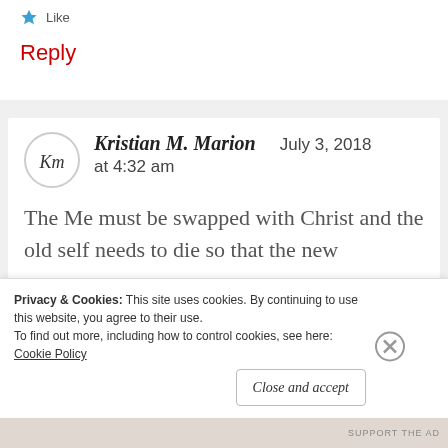[Figure (illustration): Blue star icon followed by 'Like' text link]
Reply
[Figure (logo): KM monogram avatar circle for Kristian M. Marion]
Kristian M. Marion   July 3, 2018
at 4:32 am
The Me must be swapped with Christ and the old self needs to die so that the new
Privacy & Cookies: This site uses cookies. By continuing to use this website, you agree to their use.
To find out more, including how to control cookies, see here: Cookie Policy
Close and accept